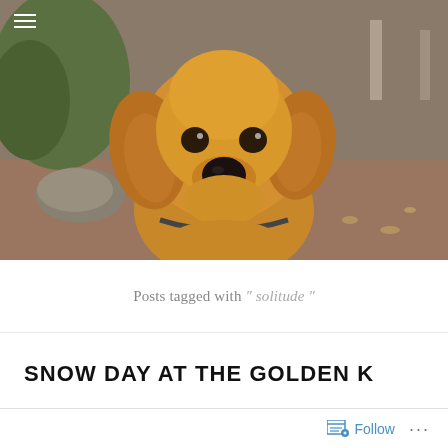[Figure (photo): A golden retriever puppy sitting outdoors facing the camera, wearing a chain collar with a bone-shaped tag, with dirt ground, rocks, and green foliage in the background. A hamburger menu icon appears in the top-left corner.]
Posts tagged with " solitude "
SNOW DAY AT THE GOLDEN K
Follow ...